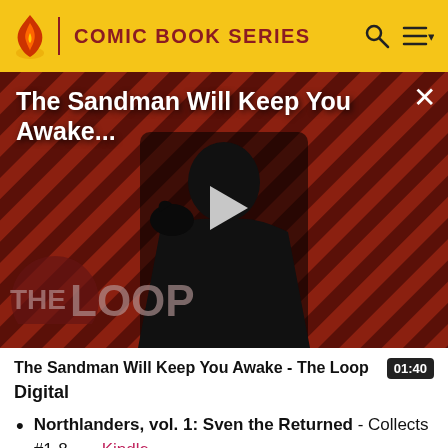COMIC BOOK SERIES
[Figure (screenshot): Video thumbnail showing a dark-cloaked figure (Sandman) against a red and black diagonal striped background. Title overlay reads 'The Sandman Will Keep You Awake...' with a play button in the center and 'THE LOOP' watermark in the lower left.]
The Sandman Will Keep You Awake - The Loop  01:40
Digital
Northlanders, vol. 1: Sven the Returned - Collects #1-8. - – Kindle